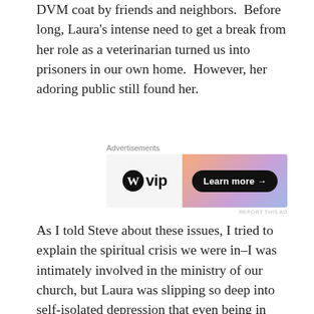DVM coat by friends and neighbors.  Before long, Laura's intense need to get a break from her role as a veterinarian turned us into prisoners in our own home.  However, her adoring public still found her.
[Figure (other): WordPress VIP advertisement banner with gradient orange-purple background and 'Learn more →' button]
As I told Steve about these issues, I tried to explain the spiritual crisis we were in–I was intimately involved in the ministry of our church, but Laura was slipping so deep into self-isolated depression that even being in the church she'd grown up in was creating a huge amount of anxiety.  Steve knew that Laura had begun showing up late to church and leaving early, but he didn't realize why.  Nor did he know how common it